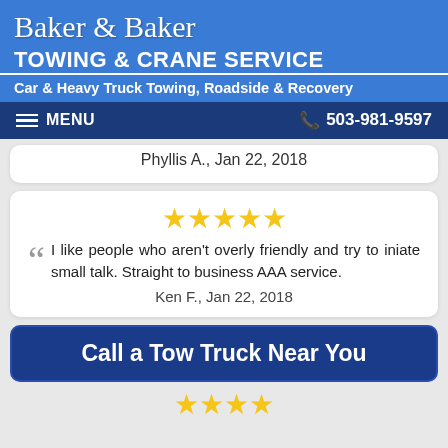Baker & Baker Towing & Crane Service
Car & Heavy Truck Towing, Roadside & Recovery
MENU  503-981-9597
Phyllis A., Jan 22, 2018
[Figure (other): 5 gold stars rating]
I like people who aren't overly friendly and try to iniate small talk. Straight to business AAA service.
Ken F., Jan 22, 2018
Call a Tow Truck Near You
[Figure (other): Partial gold stars rating row at bottom]